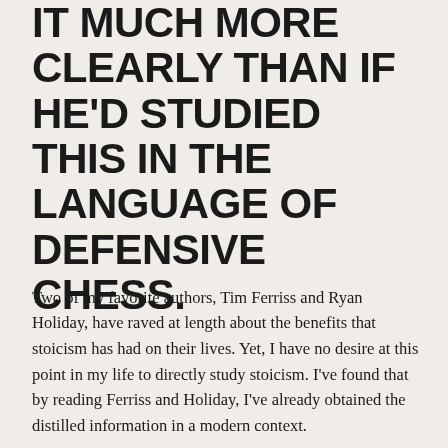IT MUCH MORE CLEARLY THAN IF HE'D STUDIED THIS IN THE LANGUAGE OF DEFENSIVE CHESS.
Two of my favorite authors, Tim Ferriss and Ryan Holiday, have raved at length about the benefits that stoicism has had on their lives. Yet, I have no desire at this point in my life to directly study stoicism. I've found that by reading Ferriss and Holiday, I've already obtained the distilled information in a modern context.
I've learned Seneca and Aurelius (stoic philosophers) through Ferriss and Holiday. Anytime someone says "you need to read this," and then proceeds to tell you